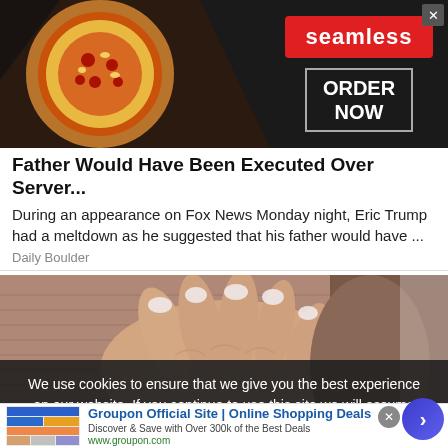[Figure (advertisement): Seamless food delivery advertisement banner with pizza image on left, seamless red logo in center, ORDER NOW box on right, dark background]
Father Would Have Been Executed Over Server...
During an appearance on Fox News Monday night, Eric Trump had a meltdown as he suggested that his father would have ...
Daily Boulder
[Figure (photo): Close-up photo of a woman's hand with white/light pink manicured nails placed on her stomach/torso, wearing a ribbed light brown/mauve top]
We use cookies to ensure that we give you the best experience on our website. If you continue to use this site we will assume that you
[Figure (advertisement): Groupon Official Site Online Shopping Deals advertisement with Groupon logo and product images, www.groupon.com URL, and navigation arrow]